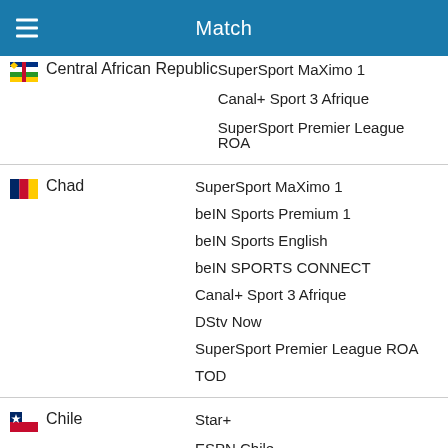Match
| Country | Channels |
| --- | --- |
| Central African Republic | SuperSport MaXimo 1
Canal+ Sport 3 Afrique
SuperSport Premier League ROA |
| Chad | SuperSport MaXimo 1
beIN Sports Premium 1
beIN Sports English
beIN SPORTS CONNECT
Canal+ Sport 3 Afrique
DStv Now
SuperSport Premier League ROA
TOD |
| Chile | Star+
ESPN Chile |
| China | QQ Sports Live |